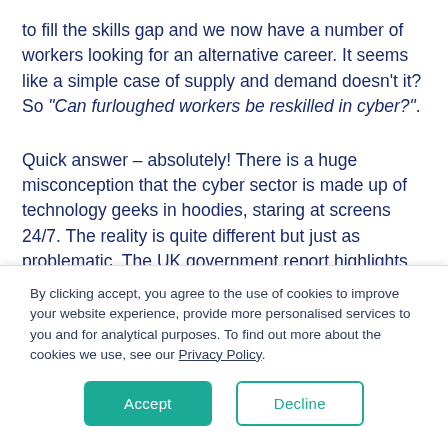to fill the skills gap and we now have a number of workers looking for an alternative career. It seems like a simple case of supply and demand doesn't it? So "Can furloughed workers be reskilled in cyber?".
Quick answer – absolutely! There is a huge misconception that the cyber sector is made up of technology geeks in hoodies, staring at screens 24/7. The reality is quite different but just as problematic. The UK government report highlights the lack of diversity within the cyber sector workforce. It falls well
By clicking accept, you agree to the use of cookies to improve your website experience, provide more personalised services to you and for analytical purposes. To find out more about the cookies we use, see our Privacy Policy.